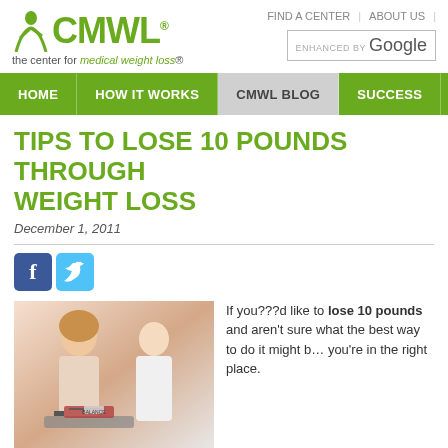[Figure (logo): CMWL logo with green figure icon and text 'the center for medical weight loss']
FIND A CENTER | ABOUT US | [search box] ENHANCED BY Google
HOME | HOW IT WORKS | CMWL BLOG | SUCCESS
TIPS TO LOSE 10 POUNDS THROUGH WEIGHT LOSS
December 1, 2011
[Figure (photo): Woman smiling at a medical weight scale with a doctor in a white coat in the background]
If you???d like to lose 10 pounds and aren't sure what the best way to do it might be, you're in the right place.
Unlike fad diets, The Center for Medical Weight Loss (CMWL)